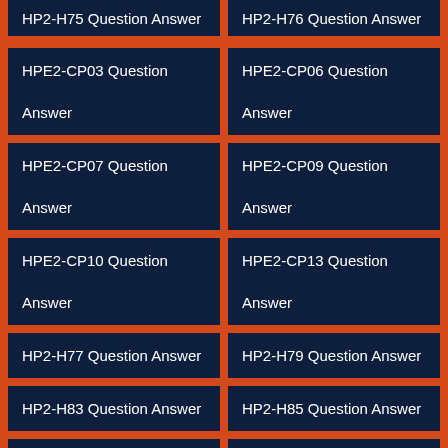HP2-H75 Question Answer
HP2-H76 Question Answer
HPE2-CP03 Question Answer
HPE2-CP06 Question Answer
HPE2-CP07 Question Answer
HPE2-CP09 Question Answer
HPE2-CP10 Question Answer
HPE2-CP13 Question Answer
HP2-H77 Question Answer
HP2-H79 Question Answer
HP2-H83 Question Answer
HP2-H85 Question Answer
HPE2-CP11 Question Answer
HP3-C50 Question Answer